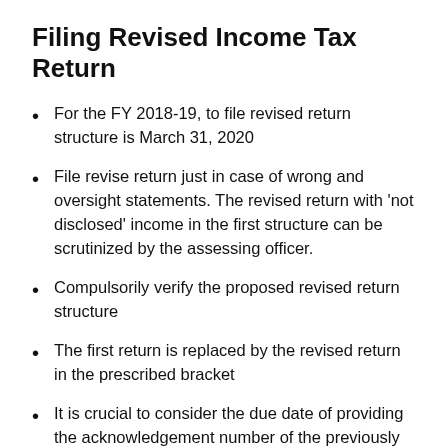Filing Revised Income Tax Return
For the FY 2018-19, to file revised return structure is March 31, 2020
File revise return just in case of wrong and oversight statements. The revised return with ‘not disclosed’ income in the first structure can be scrutinized by the assessing officer.
Compulsorily verify the proposed revised return structure
The first return is replaced by the revised return in the prescribed bracket
It is crucial to consider the due date of providing the acknowledgement number of the previously furnished